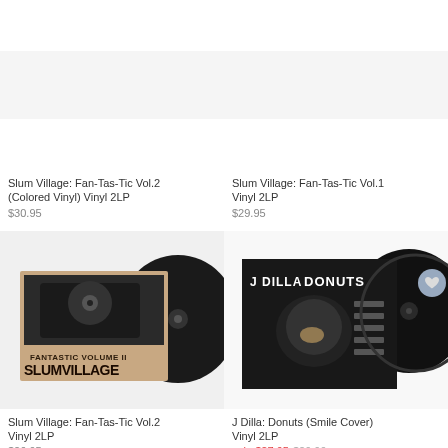[Figure (photo): Slum Village Fan-Tas-Tic Vol.2 Colored Vinyl album cover with vinyl records]
Slum Village: Fan-Tas-Tic Vol.2 (Colored Vinyl) Vinyl 2LP
$30.95
[Figure (photo): Slum Village Fan-Tas-Tic Vol.1 Vinyl 2LP album cover]
Slum Village: Fan-Tas-Tic Vol.1 Vinyl 2LP
$29.95
[Figure (photo): Slum Village Fan-Tas-Tic Vol.2 Vinyl 2LP album cover with black vinyl records]
Slum Village: Fan-Tas-Tic Vol.2 Vinyl 2LP
$26.95
[Figure (photo): J Dilla Donuts Smile Cover Vinyl 2LP album with black vinyl records]
J Dilla: Donuts (Smile Cover) Vinyl 2LP
sale $27.95 $29.99
[Figure (photo): J Dilla Donuts vinyl record partial view bottom left]
[Figure (photo): Group photo album cover partial view bottom right]